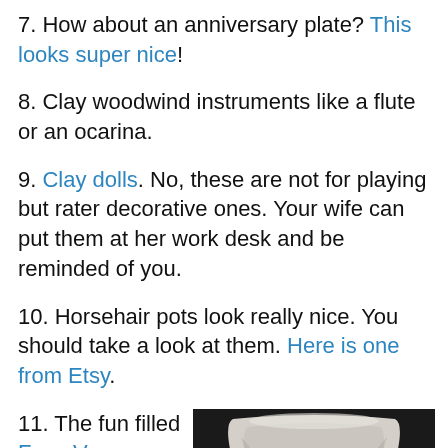7. How about an anniversary plate? This looks super nice!
8. Clay woodwind instruments like a flute or an ocarina.
9. Clay dolls. No, these are not for playing but rater decorative ones. Your wife can put them at her work desk and be reminded of you.
10. Horsehair pots look really nice. You should take a look at them. Here is one from Etsy.
11. The fun filled Face Vase. Have you seen
[Figure (photo): A white ceramic vase with a flared top, shaped somewhat like a funnel or face vase, photographed against a dark/black background.]